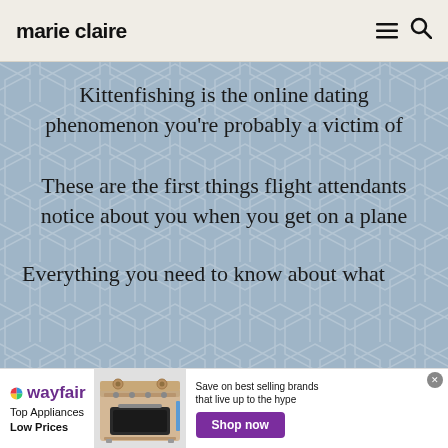marie claire
Kittenfishing is the online dating phenomenon you're probably a victim of
These are the first things flight attendants notice about you when you get on a plane
Everything you need to know about what
[Figure (infographic): Wayfair advertisement banner. Shows Wayfair logo, 'Top Appliances Low Prices' text, image of a stove, and 'Save on best selling brands that live up to the hype' with a purple 'Shop now' button.]